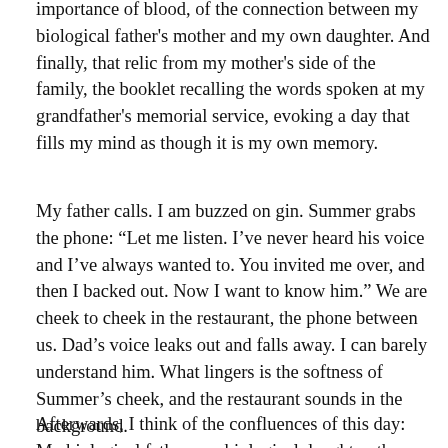importance of blood, of the connection between my biological father's mother and my own daughter. And finally, that relic from my mother's side of the family, the booklet recalling the words spoken at my grandfather's memorial service, evoking a day that fills my mind as though it is my own memory.
My father calls. I am buzzed on gin. Summer grabs the phone: “Let me listen. I’ve never heard his voice and I’ve always wanted to. You invited me over, and then I backed out. Now I want to know him.” We are cheek to cheek in the restaurant, the phone between us. Dad’s voice leaks out and falls away. I can barely understand him. What lingers is the softness of Summer’s cheek, and the restaurant sounds in the background.
Afterwards, I think of the confluences of this day: My biological father, my biological daughter, the grave of the d...